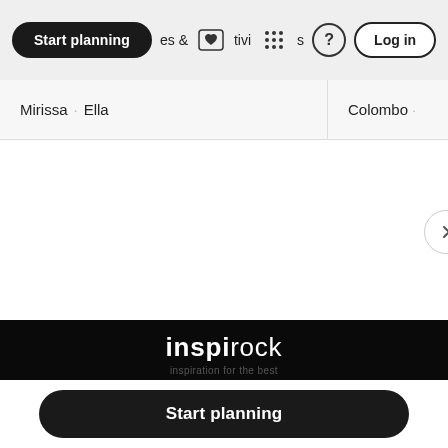Start planning  & Activities  ?  Log in
Mirissa · Ella
Colombo ·
[Figure (screenshot): White content area with partial scroll arrow button on right edge]
inspirock
Start planning